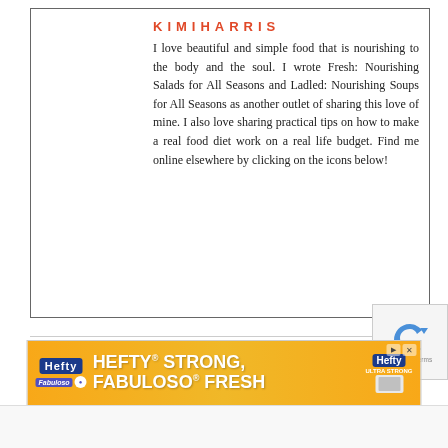[Figure (photo): Photo of Kimi Harris, a woman with long dark hair holding a child, in a warm outdoor light setting]
KIMIHARRIS
I love beautiful and simple food that is nourishing to the body and the soul. I wrote Fresh: Nourishing Salads for All Seasons and Ladled: Nourishing Soups for All Seasons as another outlet of sharing this love of mine. I also love sharing practical tips on how to make a real food diet work on a real life budget. Find me online elsewhere by clicking on the icons below!
Filed Under: Uncategorized
[Figure (photo): Hefty Strong, Fabuloso Fresh advertisement banner]